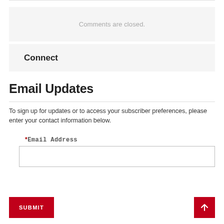Comments are closed.
Connect
Email Updates
To sign up for updates or to access your subscriber preferences, please enter your contact information below.
* Email Address
SUBMIT